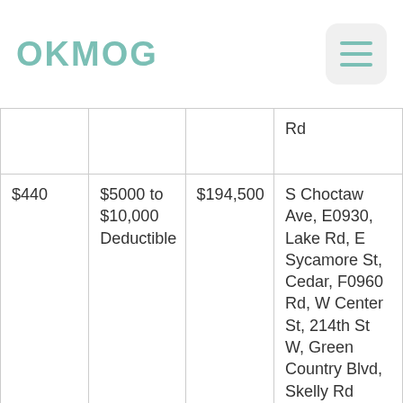OKMOG
|  |  |  | Rd |
| $440 | $5000 to $10,000 Deductible | $194,500 | S Choctaw Ave, E0930, Lake Rd, E Sycamore St, Cedar, F0960 Rd, W Center St, 214th St W, Green Country Blvd, Skelly Rd |
| $260 | $500 Deductible | $49,500 | S Choctaw Ave, E0930... |